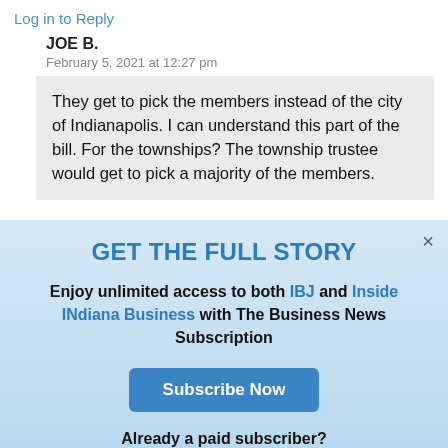Log in to Reply
JOE B.
February 5, 2021 at 12:27 pm
They get to pick the members instead of the city of Indianapolis. I can understand this part of the bill. For the townships? The township trustee would get to pick a majority of the members.
GET THE FULL STORY
Enjoy unlimited access to both IBJ and Inside INdiana Business with The Business News Subscription
Subscribe Now
Already a paid subscriber?
Log In